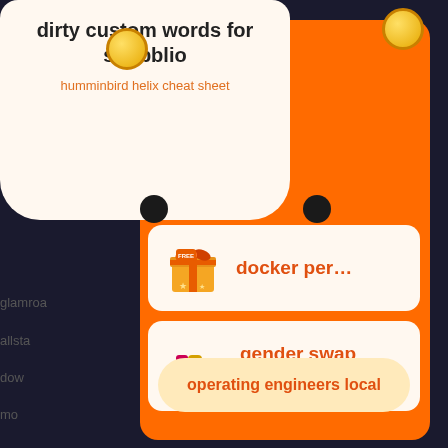dirty custom words for skribblio
humminbird helix cheat sheet
docker per…
gender swap games
operating engineers local